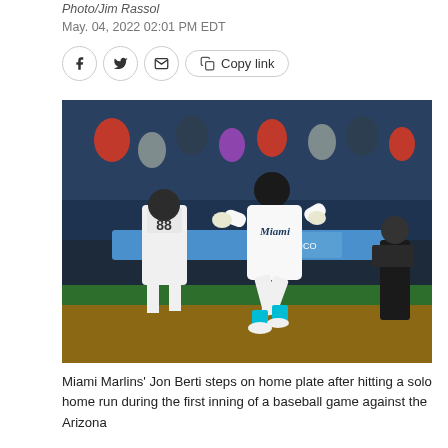Photo/Jim Rassol
May. 04, 2022 02:01 PM EDT
[Figure (photo): Miami Marlins player in white Miami uniform running/stepping on home plate after hitting a home run, with another player wearing #88 jersey walking away in background, fans and a cameraman visible, taken at night game]
Miami Marlins' Jon Berti steps on home plate after hitting a solo home run during the first inning of a baseball game against the Arizona